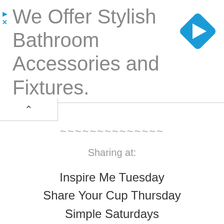[Figure (infographic): Advertisement banner: blue diamond logo with white right-arrow, text reading 'We Offer Stylish Bathroom Accessories and Fixtures.' with play and X icons on the left side]
~~~~~~~~~~~~~~
Sharing at:
Inspire Me Tuesday
Share Your Cup Thursday
Simple Saturdays
Thoughts Of Home On Thursday
Thursday Favorite Things
Tuesdays at Our Home
Tweak It Tuesday